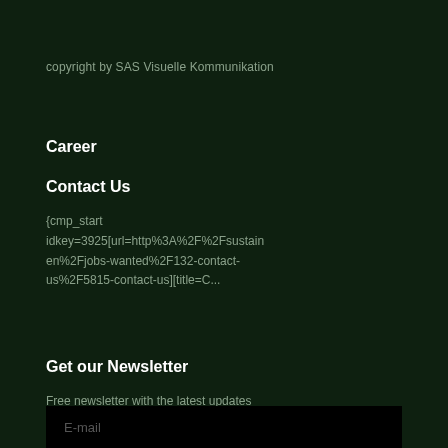copyright by SAS Visuelle Kommunikation
Career
Contact Us
{cmp_start idkey=3925[url=http%3A%2F%2Fsustain en%2Fjobs-wanted%2F132-contact-us%2F5815-contact-us][title=C...
Get our Newsletter
Free newsletter with the latest updates
E-mail